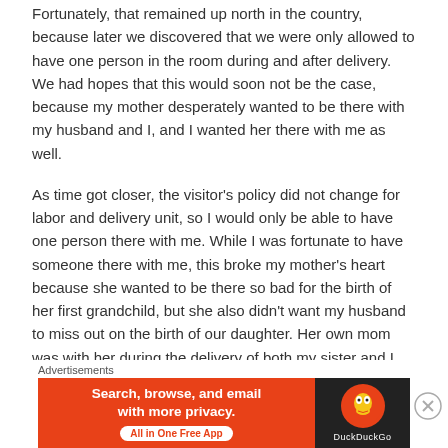Fortunately, that remained up north in the country, because later we discovered that we were only allowed to have one person in the room during and after delivery. We had hopes that this would soon not be the case, because my mother desperately wanted to be there with my husband and I, and I wanted her there with me as well.
As time got closer, the visitor's policy did not change for labor and delivery unit, so I would only be able to have one person there with me. While I was fortunate to have someone there with me, this broke my mother's heart because she wanted to be there so bad for the birth of her first grandchild, but she also didn't want my husband to miss out on the birth of our daughter. Her own mom was with her during the delivery of both my sister and I, and she wanted to be there for her own grandchildren. Not to mention, I also had extended family who wanted to be there on
Advertisements
[Figure (infographic): DuckDuckGo advertisement banner: orange left section with text 'Search, browse, and email with more privacy. All in One Free App' and dark right section with DuckDuckGo logo and name.]